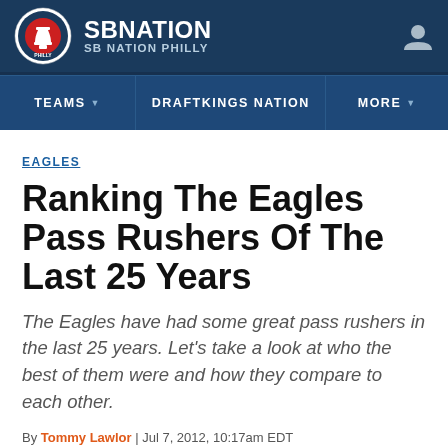SB NATION / SB NATION PHILLY
TEAMS | DRAFTKINGS NATION | MORE
EAGLES
Ranking The Eagles Pass Rushers Of The Last 25 Years
The Eagles have had some great pass rushers in the last 25 years. Let's take a look at who the best of them were and how they compare to each other.
By Tommy Lawlor | Jul 7, 2012, 10:17am EDT